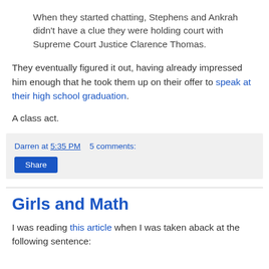When they started chatting, Stephens and Ankrah didn't have a clue they were holding court with Supreme Court Justice Clarence Thomas.
They eventually figured it out, having already impressed him enough that he took them up on their offer to speak at their high school graduation.
A class act.
Darren at 5:35 PM   5 comments:
Share
Girls and Math
I was reading this article when I was taken aback at the following sentence: